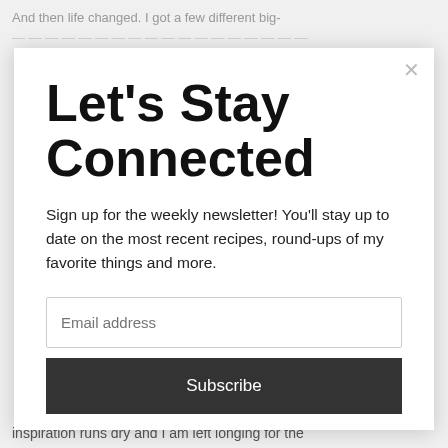And then life changed. I got a few different big-
Let's Stay Connected
Sign up for the weekly newsletter! You'll stay up to date on the most recent recipes, round-ups of my favorite things and more.
Email address
Subscribe
inspiration runs dry and I am left longing for the